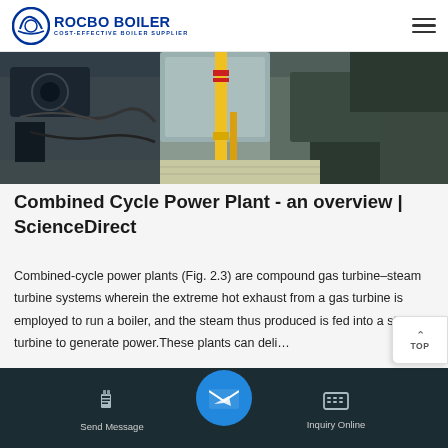ROCBO BOILER - COST-EFFECTIVE BOILER SUPPLIER
[Figure (photo): Industrial boiler/combined cycle power plant equipment photo showing pipes, yellow support columns, ducts and machinery]
Combined Cycle Power Plant - an overview | ScienceDirect
Combined-cycle power plants (Fig. 2.3) are compound gas turbine–steam turbine systems wherein the extreme hot exhaust from a gas turbine is employed to run a boiler, and the steam thus produced is fed into a steam turbine to generate power.These plants can deli…
Send Message | Inquiry Online